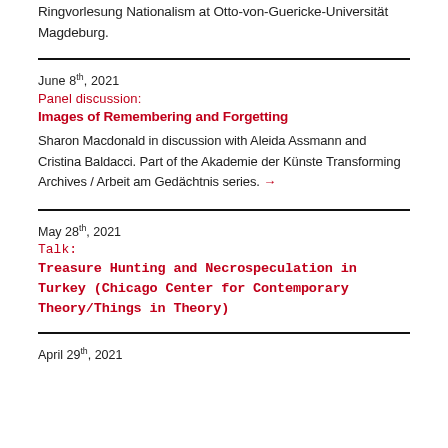Ringvorlesung Nationalism at Otto-von-Guericke-Universität Magdeburg.
June 8th, 2021
Panel discussion:
Images of Remembering and Forgetting
Sharon Macdonald in discussion with Aleida Assmann and Cristina Baldacci. Part of the Akademie der Künste Transforming Archives / Arbeit am Gedächtnis series. →
May 28th, 2021
Talk:
Treasure Hunting and Necrospeculation in Turkey (Chicago Center for Contemporary Theory/Things in Theory)
April 29th, 2021